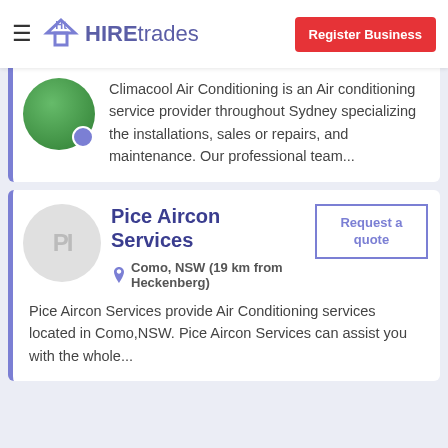HIREtrades | Register Business
Climacool Air Conditioning is an Air conditioning service provider throughout Sydney specializing the installations, sales or repairs, and maintenance. Our professional team...
Pice Aircon Services
Como, NSW (19 km from Heckenberg)
Pice Aircon Services provide Air Conditioning services located in Como,NSW. Pice Aircon Services can assist you with the whole...